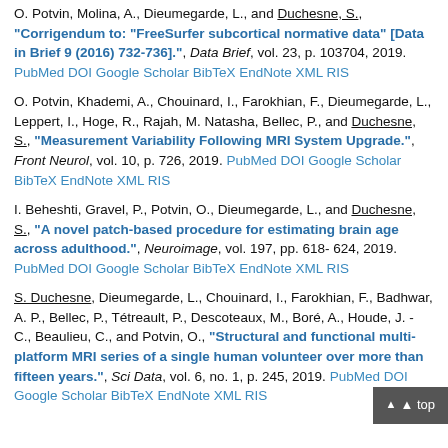O. Potvin, Molina, A., Dieumegarde, L., and Duchesne, S., "Corrigendum to: "FreeSurfer subcortical normative data" [Data in Brief 9 (2016) 732-736].", Data Brief, vol. 23, p. 103704, 2019. PubMed DOI Google Scholar BibTeX EndNote XML RIS
O. Potvin, Khademi, A., Chouinard, I., Farokhian, F., Dieumegarde, L., Leppert, I., Hoge, R., Rajah, M. Natasha, Bellec, P., and Duchesne, S., "Measurement Variability Following MRI System Upgrade.", Front Neurol, vol. 10, p. 726, 2019. PubMed DOI Google Scholar BibTeX EndNote XML RIS
I. Beheshti, Gravel, P., Potvin, O., Dieumegarde, L., and Duchesne, S., "A novel patch-based procedure for estimating brain age across adulthood.", Neuroimage, vol. 197, pp. 618-624, 2019. PubMed DOI Google Scholar BibTeX EndNote XML RIS
S. Duchesne, Dieumegarde, L., Chouinard, I., Farokhian, F., Badhwar, A. P., Bellec, P., Tétreault, P., Descoteaux, M., Boré, A., Houde, J. - C., Beaulieu, C., and Potvin, O., "Structural and functional multi-platform MRI series of a single human volunteer over more than fifteen years.", Sci Data, vol. 6, no. 1, p. 245, 2019. PubMed DOI Google Scholar BibTeX EndNote XML RIS